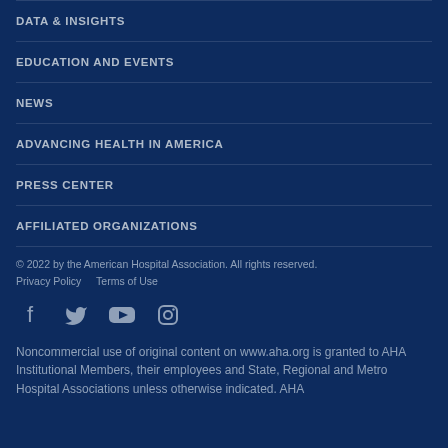DATA & INSIGHTS
EDUCATION AND EVENTS
NEWS
ADVANCING HEALTH IN AMERICA
PRESS CENTER
AFFILIATED ORGANIZATIONS
© 2022 by the American Hospital Association. All rights reserved. Privacy Policy   Terms of Use
[Figure (infographic): Social media icons: Facebook, Twitter, YouTube, Instagram]
Noncommercial use of original content on www.aha.org is granted to AHA Institutional Members, their employees and State, Regional and Metro Hospital Associations unless otherwise indicated. AHA